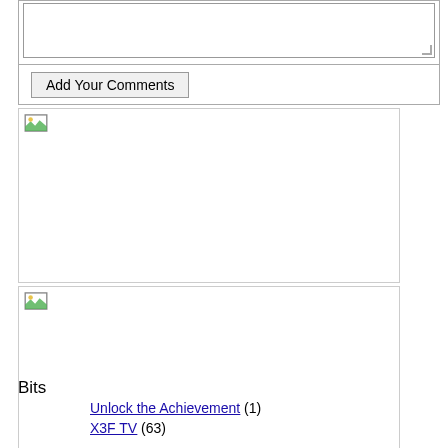[Figure (screenshot): Form area with a textarea and an 'Add Your Comments' button below a divider line]
[Figure (photo): Broken image placeholder 1 - white rectangle with small image icon in top-left corner]
[Figure (photo): Broken image placeholder 2 - white rectangle with small image icon in top-left corner]
[Figure (photo): Broken image placeholder 3 - white rectangle with small image icon in top-left corner]
Bits
Unlock the Achievement (1)
X3F TV (63)